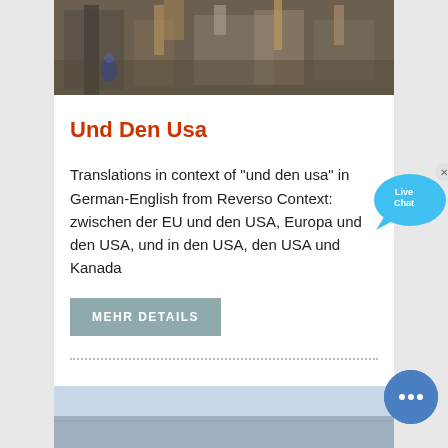[Figure (photo): Industrial machinery / construction equipment photo at the top of the page]
Und Den Usa
Translations in context of "und den usa" in German-English from Reverso Context: zwischen der EU und den USA, Europa und den USA, und in den USA, den USA und Kanada
MEHR DETAILS
[Figure (photo): Outdoor/landscape photo at the bottom of the page (partially visible)]